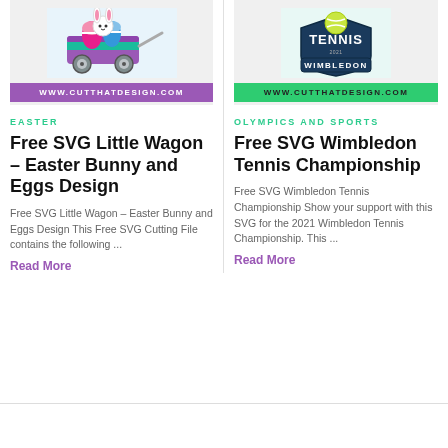[Figure (illustration): Easter bunny in a colorful wagon with Easter eggs illustration with purple URL bar showing www.cutthatdesign.com]
[Figure (logo): Tennis Wimbledon 2021 logo with tennis ball and shield, teal URL bar showing www.cutthatdesign.com]
EASTER
OLYMPICS AND SPORTS
Free SVG Little Wagon – Easter Bunny and Eggs Design
Free SVG Wimbledon Tennis Championship
Free SVG Little Wagon – Easter Bunny and Eggs Design This Free SVG Cutting File contains the following ...
Free SVG Wimbledon Tennis Championship Show your support with this SVG for the 2021 Wimbledon Tennis Championship. This ...
Read More
Read More